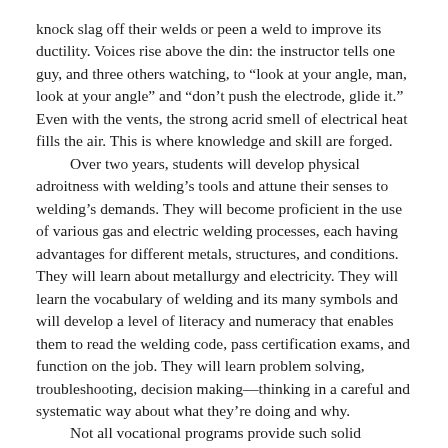knock slag off their welds or peen a weld to improve its ductility. Voices rise above the din: the instructor tells one guy, and three others watching, to “look at your angle, man, look at your angle” and “don’t push the electrode, glide it.” Even with the vents, the strong acrid smell of electrical heat fills the air. This is where knowledge and skill are forged.

Over two years, students will develop physical adroitness with welding’s tools and attune their senses to welding’s demands. They will become proficient in the use of various gas and electric welding processes, each having advantages for different metals, structures, and conditions. They will learn about metallurgy and electricity. They will learn the vocabulary of welding and its many symbols and will develop a level of literacy and numeracy that enables them to read the welding code, pass certification exams, and function on the job. They will learn problem solving, troubleshooting, decision making—thinking in a careful and systematic way about what they’re doing and why.

Not all vocational programs provide such solid preparation for a career, but, before the recession, most of the welding